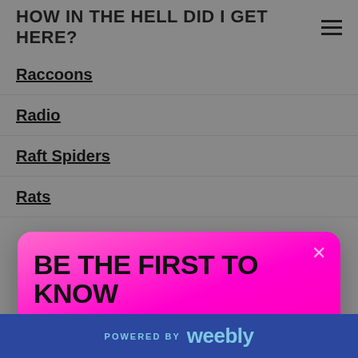HOW IN THE HELL DID I GET HERE?
Raccoons
Radio
Raft Spiders
Rats
[Figure (screenshot): Popup modal with pink gradient background. Title: 'BE THE FIRST TO KNOW'. Subtitle: 'When a new episode comes out and hear about our special promotions.' Button: 'Join Now!']
Robin
Rochester
Rocks
POWERED BY weebly